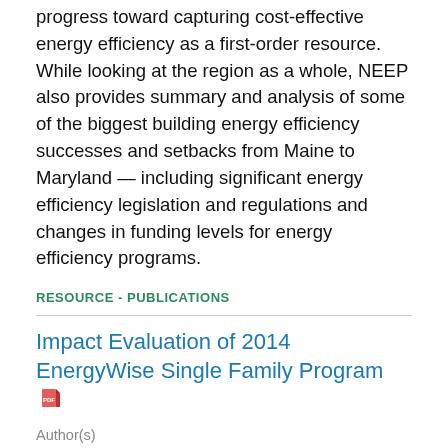progress toward capturing cost-effective energy efficiency as a first-order resource. While looking at the region as a whole, NEEP also provides summary and analysis of some of the biggest building energy efficiency successes and setbacks from Maine to Maryland — including significant energy efficiency legislation and regulations and changes in funding levels for energy efficiency programs.
RESOURCE - PUBLICATIONS
Impact Evaluation of 2014 EnergyWise Single Family Program
Author(s)
DNV GL
Publication Date
2016
Organizations or Programs
National Grid
This report presents the results of the evaluation of